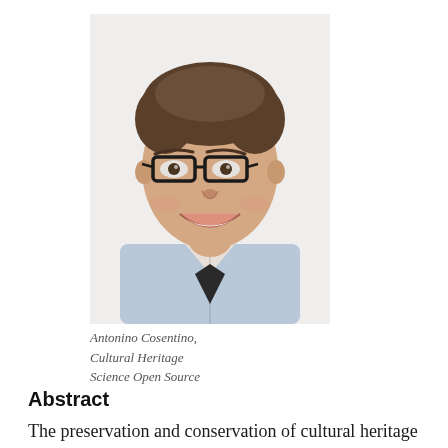[Figure (photo): Headshot photo of a smiling man with brown hair and black-rimmed glasses, wearing a collared shirt. White background.]
Antonino Cosentino, Cultural Heritage Science Open Source
Abstract
The preservation and conservation of cultural heritage material is matter of increasing civic importance, particularly in communities where